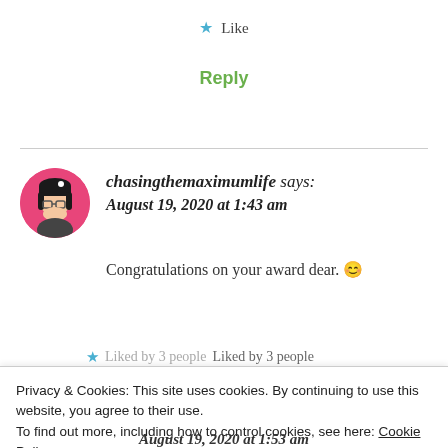★ Like
Reply
chasingthemaximumlife says: August 19, 2020 at 1:43 am
Congratulations on your award dear. 😊
★ Liked by 3 people
Privacy & Cookies: This site uses cookies. By continuing to use this website, you agree to their use. To find out more, including how to control cookies, see here: Cookie Policy
Close and accept
August 19, 2020 at 1:53 am